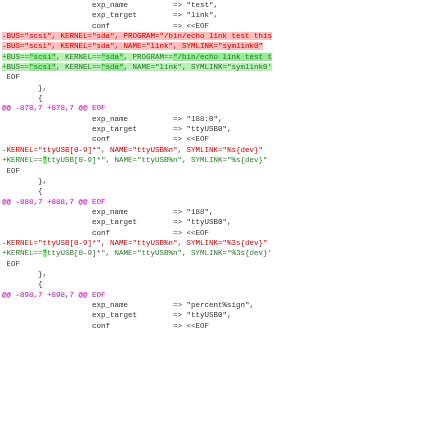exp_name => "test",
exp_target => "link",
conf => <<EOF
-BUS="scsi", KERNEL="sda", PROGRAM="/bin/echo link test this
-BUS="scsi", KERNEL="sda", NAME="link", SYMLINK="symlink0"
+BUS=="scsi", KERNEL=="sda", PROGRAM=="/bin/echo link test t
+BUS=="scsi", KERNEL=="sda", NAME="link", SYMLINK="symlink0'
 EOF
},
        {
@@ -878,7 +878,7 @@ EOF
exp_name => "188:0",
exp_target => "ttyUSB0",
conf => <<EOF
-KERNEL="ttyUSB[0-9]*", NAME="ttyUSB%n", SYMLINK="%s{dev}"
+KERNEL=="ttyUSB[0-9]*", NAME="ttyUSB%n", SYMLINK="%s{dev}"
 EOF
},
        {
@@ -888,7 +888,7 @@ EOF
exp_name => "188",
exp_target => "ttyUSB0",
conf => <<EOF
-KERNEL="ttyUSB[0-9]*", NAME="ttyUSB%n", SYMLINK="%3s{dev}"
+KERNEL=="ttyUSB[0-9]*", NAME="ttyUSB%n", SYMLINK="%3s{dev}'
 EOF
},
        {
@@ -898,7 +898,7 @@ EOF
exp_name => "percent%sign",
exp_target => "ttyUSB0",
conf => <<EOF